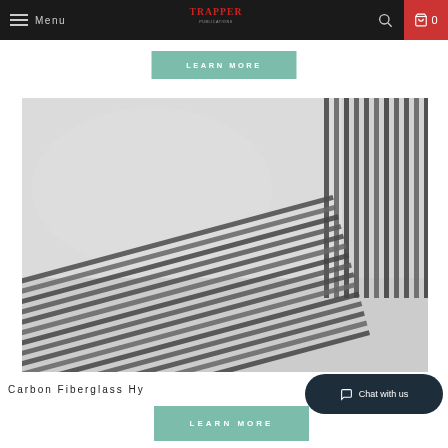Menu | Trapper | Search | Cart 0
LEARN MORE
[Figure (photo): Close-up photograph of carbon fiberglass hybrid material showing woven carbon fiber strips and white fiberglass mat layered together, in black and white tones]
Carbon Fiberglass Hy...
LEARN MORE
Chat with us